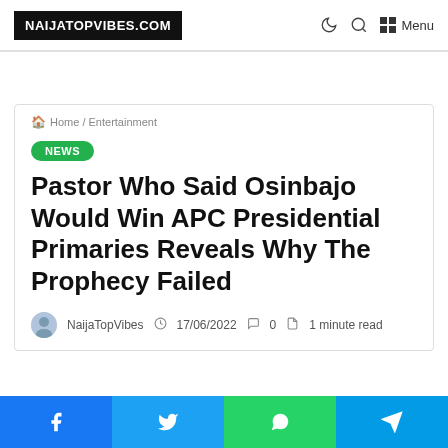NAIJATOPVIBES.COM
Home / Entertainment
NEWS
Pastor Who Said Osinbajo Would Win APC Presidential Primaries Reveals Why The Prophecy Failed
NaijaTopVibes  17/06/2022  0  1 minute read